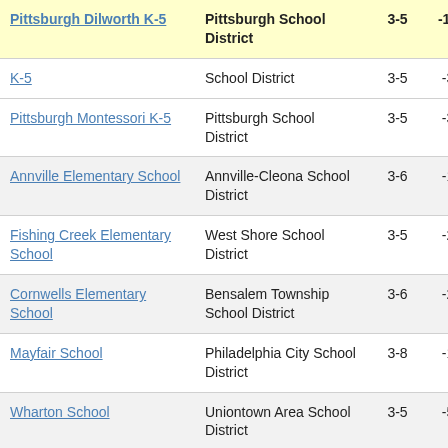| School | District | Grades | Score |
| --- | --- | --- | --- |
| Pittsburgh Dilworth K-5 | Pittsburgh School District | 3-5 | -14. |
| K-5 | School District | 3-5 | -3. |
| Pittsburgh Montessori K-5 | Pittsburgh School District | 3-5 | -3. |
| Annville Elementary School | Annville-Cleona School District | 3-6 | -1. |
| Fishing Creek Elementary School | West Shore School District | 3-5 | -2. |
| Cornwells Elementary School | Bensalem Township School District | 3-6 | -2. |
| Mayfair School | Philadelphia City School District | 3-8 | -1. |
| Wharton School | Uniontown Area School District | 3-5 | -5. |
| Jefferson | East Penn School | 3-5 | -3. |